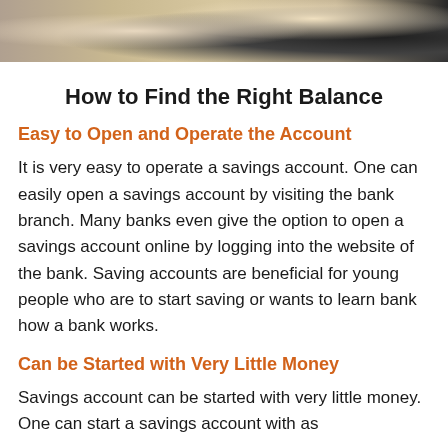[Figure (photo): Photo of currency notes (Indian rupees) fanned out, partially visible at top of page]
How to Find the Right Balance
Easy to Open and Operate the Account
It is very easy to operate a savings account. One can easily open a savings account by visiting the bank branch. Many banks even give the option to open a savings account online by logging into the website of the bank. Saving accounts are beneficial for young people who are to start saving or wants to learn bank how a bank works.
Can be Started with Very Little Money
Savings account can be started with very little money. One can start a savings account with as